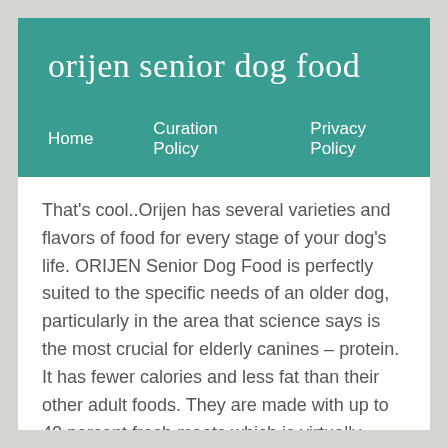orijen senior dog food
Home   Curation Policy   Privacy Policy
That's cool..Orijen has several varieties and flavors of food for every stage of your dog’s life. ORIJEN Senior Dog Food is perfectly suited to the specific needs of an older dog, particularly in the area that science says is the most crucial for elderly canines – protein. It has fewer calories and less fat than their other adult foods. They are made with up to 40 percent fresh meats which is virtually unique. With 38% richly nourishing protein, and a limited 19% low-